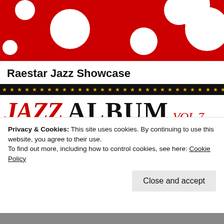[Figure (illustration): Red polka dot banner with white circles on a red background]
Raestar Jazz Showcase
[Figure (illustration): Black banner with orange/gold star pattern, followed by 'JAZZ ALBUM VOL 7' text logo in red and black serif font with red underline]
Privacy & Cookies: This site uses cookies. By continuing to use this website, you agree to their use.
To find out more, including how to control cookies, see here: Cookie Policy
Close and accept